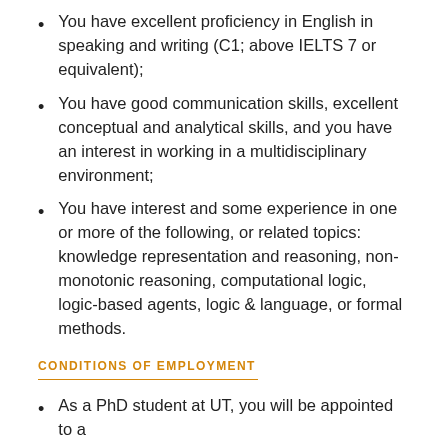You have excellent proficiency in English in speaking and writing (C1; above IELTS 7 or equivalent);
You have good communication skills, excellent conceptual and analytical skills, and you have an interest in working in a multidisciplinary environment;
You have interest and some experience in one or more of the following, or related topics: knowledge representation and reasoning, non-monotonic reasoning, computational logic, logic-based agents, logic & language, or formal methods.
CONDITIONS OF EMPLOYMENT
As a PhD student at UT, you will be appointed to a